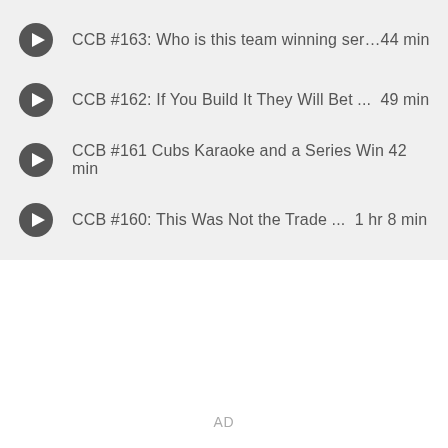CCB #163: Who is this team winning ser…44 min
CCB #162: If You Build It They Will Bet ...  49 min
CCB #161 Cubs Karaoke and a Series Win 42 min
CCB #160: This Was Not the Trade ...  1 hr 8 min
AD